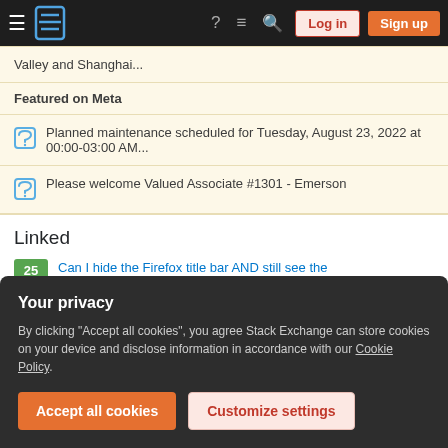Stack Exchange navigation bar with hamburger menu, logo, help, chat, search icons, Log in and Sign up buttons
Valley and Shanghai...
Featured on Meta
Planned maintenance scheduled for Tuesday, August 23, 2022 at 00:00-03:00 AM...
Please welcome Valued Associate #1301 - Emerson
Linked
25 — Can I hide the Firefox title bar AND still see the close/minimize/maximize icons?
Your privacy
By clicking "Accept all cookies", you agree Stack Exchange can store cookies on your device and disclose information in accordance with our Cookie Policy.
Accept all cookies | Customize settings
gnome-shell?